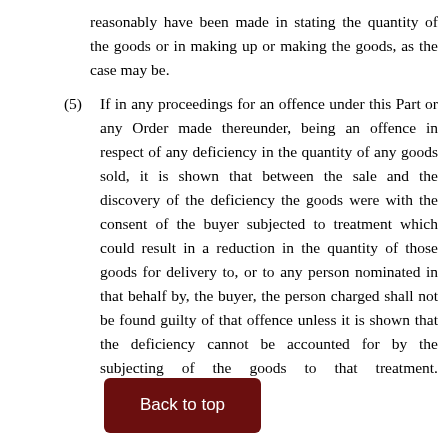reasonably have been made in stating the quantity of the goods or in making up or making the goods, as the case may be.
(5)    If in any proceedings for an offence under this Part or any Order made thereunder, being an offence in respect of any deficiency in the quantity of any goods sold, it is shown that between the sale and the discovery of the deficiency the goods were with the consent of the buyer subjected to treatment which could result in a reduction in the quantity of those goods for delivery to, or to any person nominated in that behalf by, the buyer, the person charged shall not be found guilty of that offence unless it is shown that the deficiency cannot be accounted for by the subjecting of the goods to that treatment.
(6)    In any proceedings under this Part or any Order made thereunder, being an offence in respect of